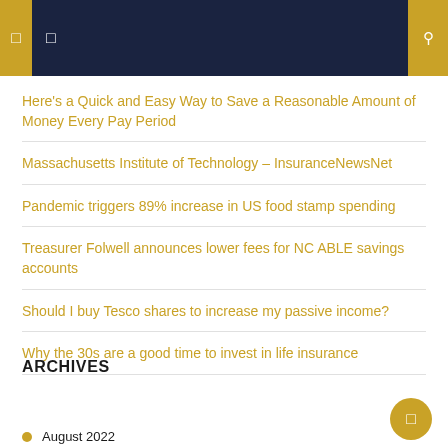Navigation header with icons
Here's a Quick and Easy Way to Save a Reasonable Amount of Money Every Pay Period
Massachusetts Institute of Technology – InsuranceNewsNet
Pandemic triggers 89% increase in US food stamp spending
Treasurer Folwell announces lower fees for NC ABLE savings accounts
Should I buy Tesco shares to increase my passive income?
Why the 30s are a good time to invest in life insurance
ARCHIVES
August 2022